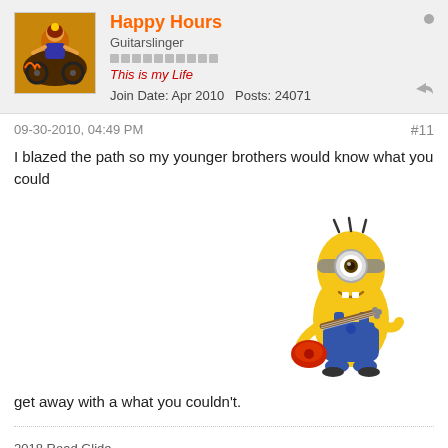Happy Hours | Guitarslinger | This is my Life | Join Date: Apr 2010 | Posts: 24071
09-30-2010, 04:49 PM
#11
I blazed the path so my younger brothers would know what you could
[Figure (illustration): A Minion character from Despicable Me playing a red electric guitar, wearing blue overalls, one eye visible through goggles]
get away with a what you couldn't.
2018 Road Glide
Member #00014